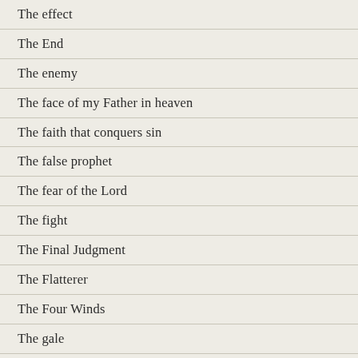The effect
The End
The enemy
The face of my Father in heaven
The faith that conquers sin
The false prophet
The fear of the Lord
The fight
The Final Judgment
The Flatterer
The Four Winds
The gale
The gamble of your life...